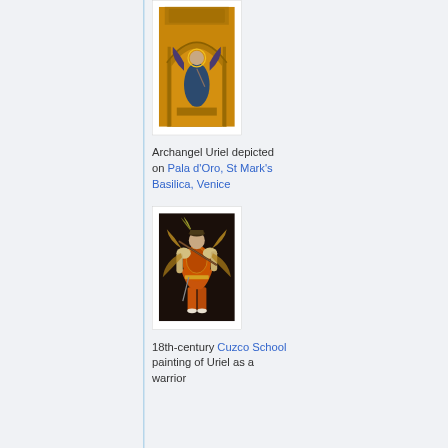[Figure (photo): Mosaic of Archangel Uriel on a golden background within an ornate arch, from Pala d'Oro at St Mark's Basilica, Venice]
Archangel Uriel depicted on Pala d'Oro, St Mark's Basilica, Venice
[Figure (photo): 18th-century Cuzco School painting of Uriel as a warrior angel in orange/red armored costume holding a musket]
18th-century Cuzco School painting of Uriel as a warrior